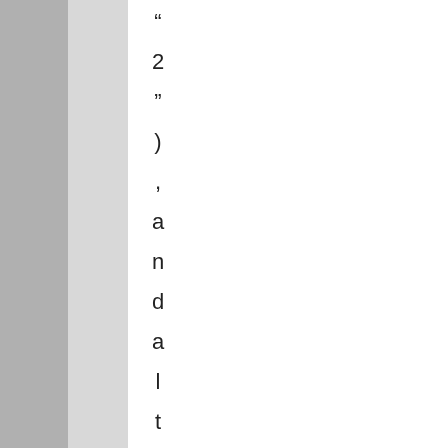“ 2 ” ) , a n d a l t h o u g h l h a v o